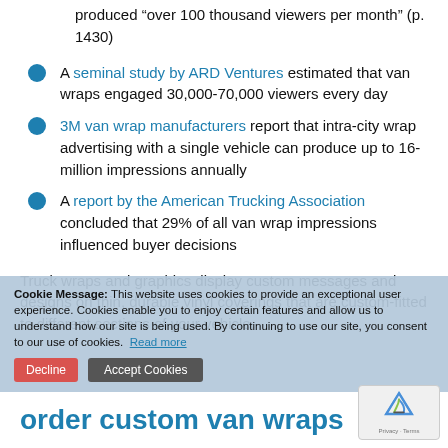produced “over 100 thousand viewers per month” (p. 1430)
A seminal study by ARD Ventures estimated that van wraps engaged 30,000-70,000 viewers every day
3M van wrap manufacturers report that intra-city wrap advertising with a single vehicle can produce up to 16-million impressions annually
A report by the American Trucking Association concluded that 29% of all van wrap impressions influenced buyer decisions
Truck wraps and graphics display custom messages and designs on thin, durable vinyl coverings that are custom-fitted to different sections of your vehicle.
order custom van wraps
Cookie Message: This website uses cookies to provide an exceptional user experience. Cookies enable you to enjoy certain features and allow us to understand how our site is being used. By continuing to use our site, you consent to our use of cookies. Read more